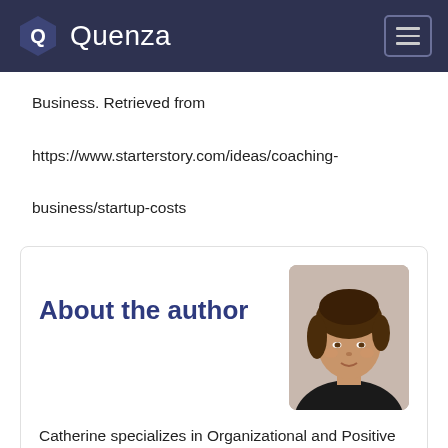Quenza
Business. Retrieved from https://www.starterstory.com/ideas/coaching-business/startup-costs
About the author
[Figure (photo): Headshot photo of Catherine, a woman with brown hair wearing a dark top]
Catherine specializes in Organizational and Positive Psychology, helping entrepreneurs, clinical psychologists and OD specialists grow their businesses by simplifying their